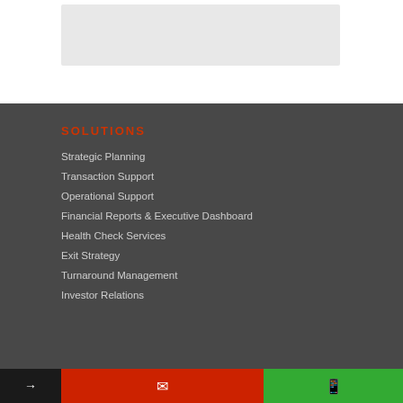[Figure (other): Gray image placeholder box in the top white section of the page]
SOLUTIONS
Strategic Planning
Transaction Support
Operational Support
Financial Reports & Executive Dashboard
Health Check Services
Exit Strategy
Turnaround Management
Investor Relations